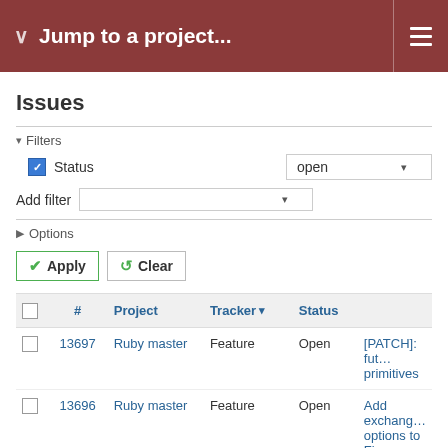Jump to a project...
Issues
Filters
Status  open
Add filter
Options
Apply   Clear
|  | # | Project | Tracker | Status |  |
| --- | --- | --- | --- | --- | --- |
|  | 13697 | Ruby master | Feature | Open | [PATCH]: fut… primitives |
|  | 13696 | Ruby master | Feature | Open | Add exchang… options to Fi… |
|  | 13681 | Ruby master | Feature | Open | Ruby digest… when built o… |